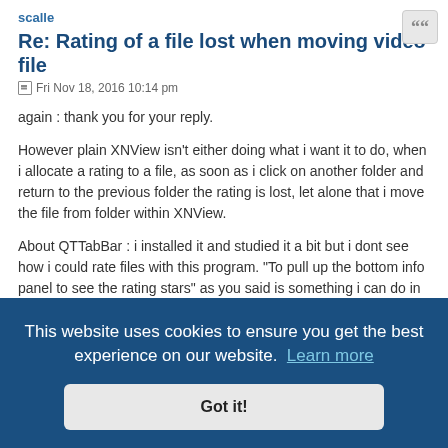scalle
Re: Rating of a file lost when moving video file
Fri Nov 18, 2016 10:14 pm
again : thank you for your reply.
However plain XNView isn't either doing what i want it to do, when i allocate a rating to a file, as soon as i click on another folder and return to the previous folder the rating is lost, let alone that i move the file from folder within XNView.
About QTTabBar : i installed it and studied it a bit but i dont see how i could rate files with this program. "To pull up the bottom info panel to see the rating stars" as you said is something i can do in win explorer too, the fact
ed years hole
jadO
This website uses cookies to ensure you get the best experience on our website. Learn more
Got it!